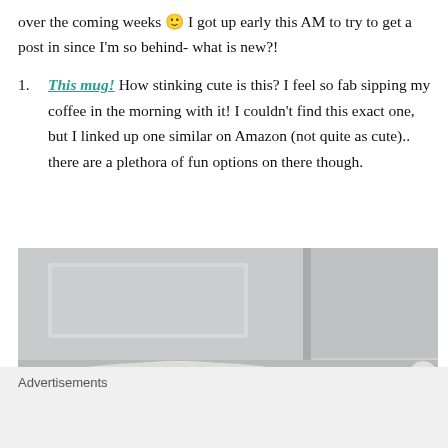over the coming weeks 🙂 I got up early this AM to try to get a post in since I'm so behind- what is new?!
This mug! How stinking cute is this? I feel so fab sipping my coffee in the morning with it! I couldn't find this exact one, but I linked up one similar on Amazon (not quite as cute).. there are a plethora of fun options on there though.
[Figure (photo): Close-up photo of a white mug being held, with a white door and dark wood floor in the background.]
Advertisements